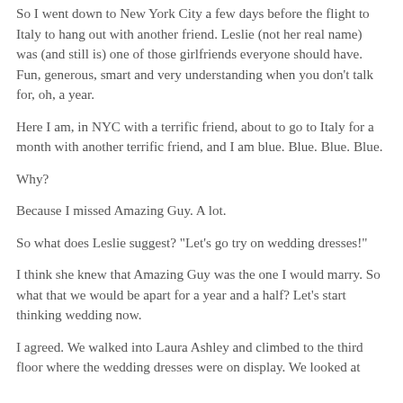So I went down to New York City a few days before the flight to Italy to hang out with another friend. Leslie (not her real name) was (and still is) one of those girlfriends everyone should have. Fun, generous, smart and very understanding when you don't talk for, oh, a year.
Here I am, in NYC with a terrific friend, about to go to Italy for a month with another terrific friend, and I am blue. Blue. Blue. Blue.
Why?
Because I missed Amazing Guy. A lot.
So what does Leslie suggest? "Let's go try on wedding dresses!"
I think she knew that Amazing Guy was the one I would marry. So what that we would be apart for a year and a half? Let's start thinking wedding now.
I agreed. We walked into Laura Ashley and climbed to the third floor where the wedding dresses were on display. We looked at